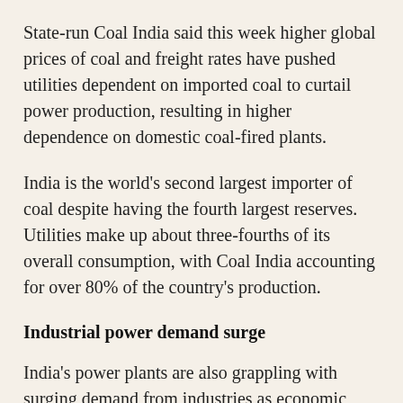State-run Coal India said this week higher global prices of coal and freight rates have pushed utilities dependent on imported coal to curtail power production, resulting in higher dependence on domestic coal-fired plants.
India is the world's second largest importer of coal despite having the fourth largest reserves. Utilities make up about three-fourths of its overall consumption, with Coal India accounting for over 80% of the country's production.
Industrial power demand surge
India's power plants are also grappling with surging demand from industries as economic activity rebounds from the latest wave of COVID-19 pandemic.